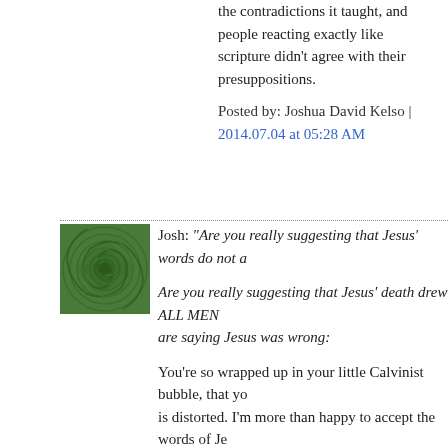the contradictions it taught, and people reacting exactly like scripture didn't agree with their presuppositions.
Posted by: Joshua David Kelso | 2014.07.04 at 05:28 AM
[Figure (illustration): Green spiral decorative avatar image]
Josh: "Are you really suggesting that Jesus' words do not a
Are you really suggesting that Jesus' death drew ALL MEN are saying Jesus was wrong:
You're so wrapped up in your little Calvinist bubble, that yo is distorted. I'm more than happy to accept the words of Je to read more into them than is meant. The draw of the cros respond.
You've done the same with Lydia's comments. You wrote T want a verse that says "Election follows, and is dependent text actually says, in many different places, is that "Belief fo election."
Well, I'm going to ask you to provide scriptural backing for will come up with a few verses. But they will without fail be want them to say only when viewed through Reformed Cal